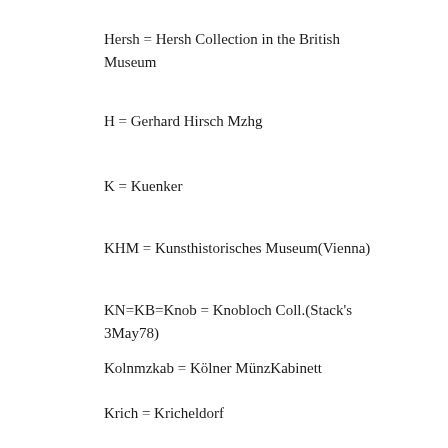Hersh = Hersh Collection in the British Museum
H = Gerhard Hirsch Mzhg
K = Kuenker
KHM = Kunsthistorisches Museum(Vienna)
KN=KB=Knob = Knobloch Coll.(Stack's 3May78)
Kolnmzkab = Kölner MünzKabinett
Krich = Kricheldorf
L... = Pars 350